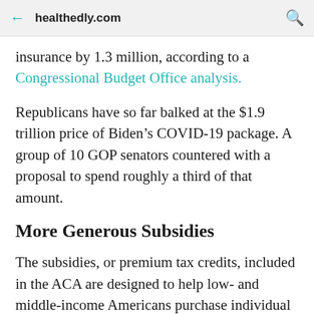healthedly.com
insurance by 1.3 million, according to a Congressional Budget Office analysis.
Republicans have so far balked at the $1.9 trillion price of Biden’s COVID-19 package. A group of 10 GOP senators countered with a proposal to spend roughly a third of that amount.
More Generous Subsidies
The subsidies, or premium tax credits, included in the ACA are designed to help low- and middle-income Americans purchase individual (as distinct from employer or union-sponsored) health